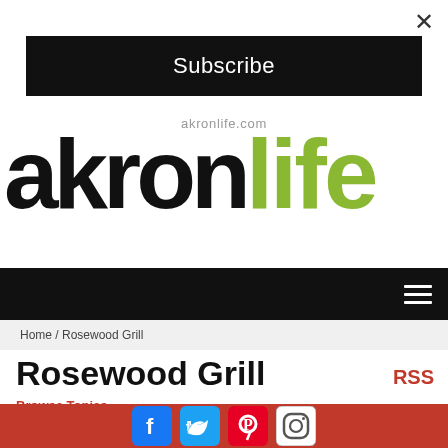×
Subscribe
[Figure (logo): akronlife.com logo with 'akron' in black and 'life' in olive green, with URL text above]
Home / Rosewood Grill
Rosewood Grill
RSS
Browse Topics
[Figure (illustration): Article/video icon — grey circular badge with play/document symbol]
Jump Start with these
[Figure (infographic): Social media footer bar with Facebook, Twitter, Pinterest, and Instagram icons on red background]